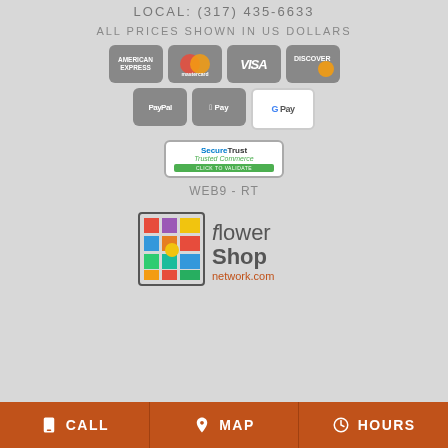LOCAL: (317) 435-6633
ALL PRICES SHOWN IN US DOLLARS
[Figure (infographic): Payment method icons: American Express, Mastercard, Visa, Discover, PayPal, Apple Pay, Google Pay]
[Figure (logo): SecureTrust Trusted Commerce - Click to Validate badge]
WEB9 - RT
[Figure (logo): Flower Shop Network .com logo]
CALL   MAP   HOURS